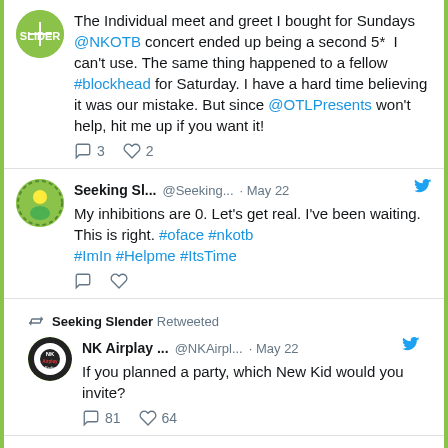The Individual meet and greet I bought for Sundays @NKOTB concert ended up being a second 5* I can't use. The same thing happened to a fellow #blockhead for Saturday. I have a hard time believing it was our mistake. But since @OTLPresents won't help, hit me up if you want it!
3  2 (reply and like counts)
Seeking Sl... @Seeking... · May 22 — My inhibitions are 0. Let's get real. I've been waiting. This is right. #oface #nkotb #ImIn #Helpme #ItsTime
Seeking Slender Retweeted
NK Airplay ... @NKAirpl... · May 22 — If you planned a party, which New Kid would you invite?
81  64